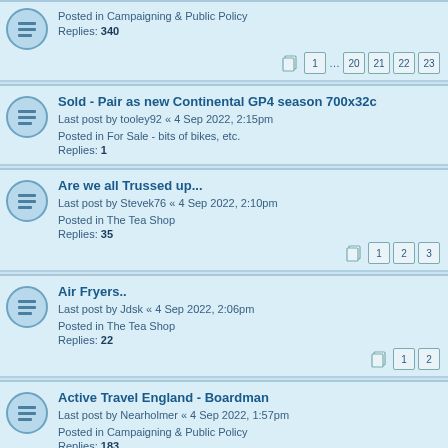Posted in Campaigning & Public Policy
Replies: 340
Pages: 1 ... 20 21 22 23
Sold - Pair as new Continental GP4 season 700x32c
Last post by tooley92 « 4 Sep 2022, 2:15pm
Posted in For Sale - bits of bikes, etc.
Replies: 1
Are we all Trussed up...
Last post by Stevek76 « 4 Sep 2022, 2:10pm
Posted in The Tea Shop
Replies: 35
Pages: 1 2 3
Air Fryers..
Last post by Jdsk « 4 Sep 2022, 2:06pm
Posted in The Tea Shop
Replies: 22
Pages: 1 2
Active Travel England - Boardman
Last post by Nearholmer « 4 Sep 2022, 1:57pm
Posted in Campaigning & Public Policy
Replies: 183
Pages: 1 ... 10 11 12 13
Cantii Way
Last post by Jdsk « 4 Sep 2022, 12:30pm
Posted in Touring & Expedition